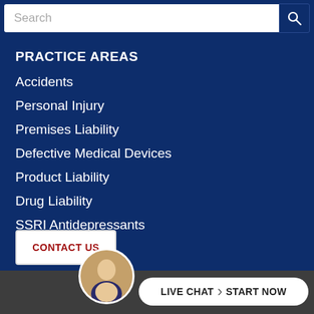PRACTICE AREAS
Accidents
Personal Injury
Premises Liability
Defective Medical Devices
Product Liability
Drug Liability
SSRI Antidepressants
CONTACT US
LIVE CHAT  START NOW
[Figure (photo): Headshot of a man in a suit, circular avatar photo]